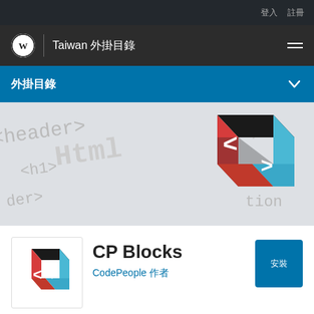登入 註冊
Taiwan 外掛目錄
外掛目錄
[Figure (illustration): Hero banner with HTML code text background showing tags like <header>, <h1>Html, and a 3D cube logo with red, black, and blue faces bearing angle bracket symbols]
CP Blocks
CodePeople 作者
[Figure (logo): CP Blocks plugin icon: a 3D cube with black top, red front-left face and blue front-right face, each bearing white angle bracket / arrow symbols]
安裝